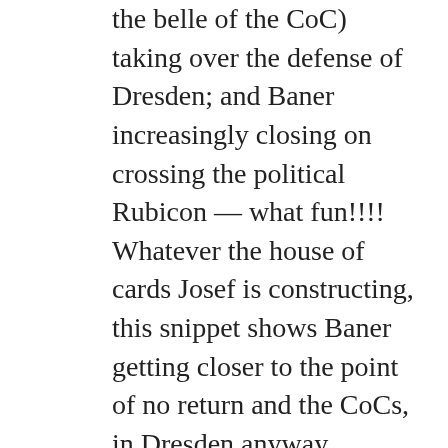the belle of the CoC) taking over the defense of Dresden; and Baner increasingly closing on crossing the political Rubicon — what fun!!!! Whatever the house of cards Josef is constructing, this snippet shows Baner getting closer to the point of no return and the CoCs, in Dresden anyway, refraining from shooting themselves in the foot. Purportedly Ernst Wettin is being given every consideration of his appointed office, while his subordinate is closing on being declared rogue. Baner has not YET declared siege — Von Arnim, Kresse, and Hangman – location and current deployment not recently updated — Axel's political bombshell launched but not yet arrived on target — Mike and the 3rd – safety is off, but trigger unpulled — Janos returning to Ferdinand III due to Murad so quickly (and